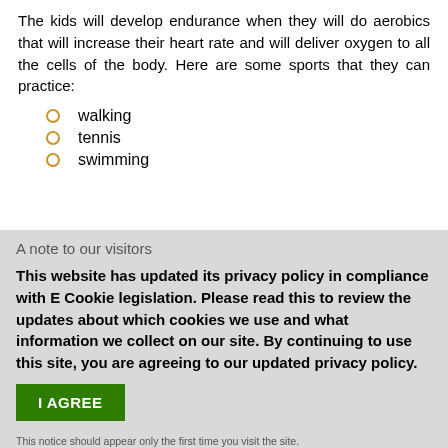The kids will develop endurance when they will do aerobics that will increase their heart rate and will deliver oxygen to all the cells of the body. Here are some sports that they can practice:
walking
tennis
swimming
A note to our visitors
This website has updated its privacy policy in compliance with E Cookie legislation. Please read this to review the updates about which cookies we use and what information we collect on our site. By continuing to use this site, you are agreeing to our updated privacy policy.
I AGREE
This notice should appear only the first time you visit the site.